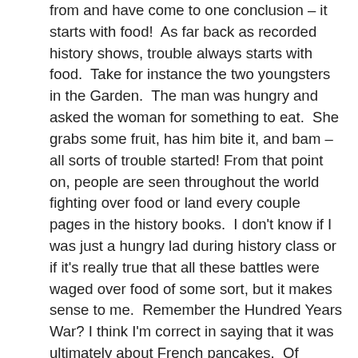from and have come to one conclusion – it starts with food!  As far back as recorded history shows, trouble always starts with food.  Take for instance the two youngsters in the Garden.  The man was hungry and asked the woman for something to eat.  She grabs some fruit, has him bite it, and bam – all sorts of trouble started! From that point on, people are seen throughout the world fighting over food or land every couple pages in the history books.  I don't know if I was just a hungry lad during history class or if it's really true that all these battles were waged over food of some sort, but it makes sense to me.  Remember the Hundred Years War? I think I'm correct in saying that it was ultimately about French pancakes.  Of course, I can't blame them; I've got quite a hankering for those as well. The list goes on. Not only was the War of Roses started over English muffins, it was brought to its conclusion by them also. The Cold War was started by some Russian guy whose eggs were cold!  I'm not sure if these were the exact facts, but that's how I remember them.  Like I say, it makes sense. The worst fights between the missus and me were all when I was hungry.  I think if we kept all these people well fed with good home cooking we would have peace in no time!  That's part of the reason I always